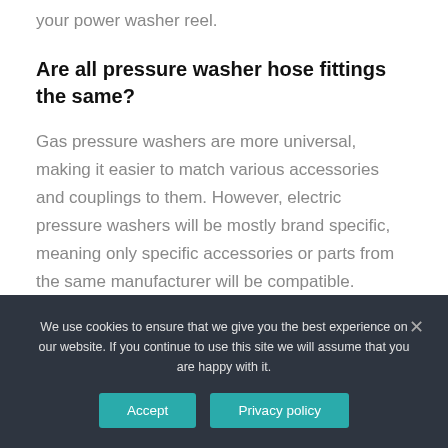your power washer reel.
Are all pressure washer hose fittings the same?
Gas pressure washers are more universal, making it easier to match various accessories and couplings to them. However, electric pressure washers will be mostly brand specific, meaning only specific accessories or parts from the same manufacturer will be compatible.
We use cookies to ensure that we give you the best experience on our website. If you continue to use this site we will assume that you are happy with it.